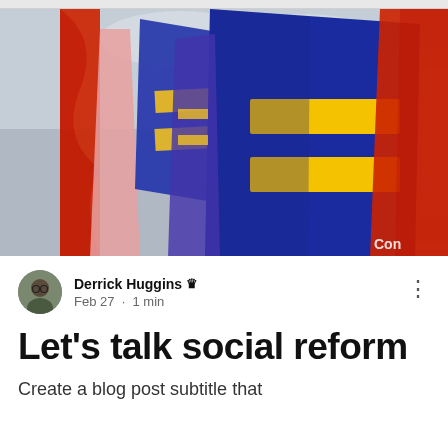[Figure (photo): Photograph of equality flags (blue with yellow equal sign) and red flags being waved in front of a neoclassical government building, likely the US Supreme Court. A partial watermark 'Con' is visible at bottom right.]
Derrick Huggins 👑
Feb 27 · 1 min
Let's talk social reform
Create a blog post subtitle that